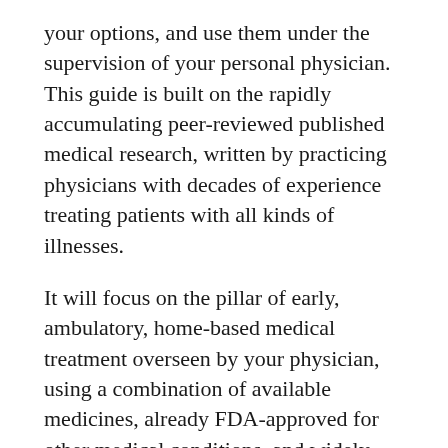your options, and use them under the supervision of your personal physician. This guide is built on the rapidly accumulating peer-reviewed published medical research, written by practicing physicians with decades of experience treating patients with all kinds of illnesses.
It will focus on the pillar of early, ambulatory, home-based medical treatment overseen by your physician, using a combination of available medicines, already FDA-approved for other medical conditions, and widely used in clinical medicine every day. We have learned more about what medicines work, how to use them, when to use them, who